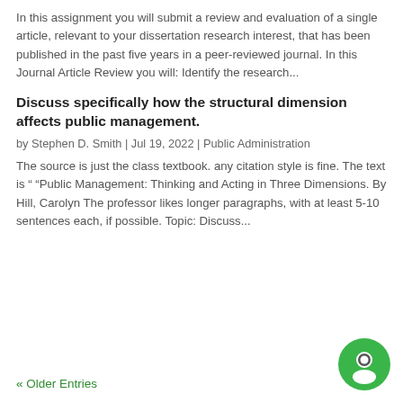In this assignment you will submit a review and evaluation of a single article, relevant to your dissertation research interest, that has been published in the past five years in a peer-reviewed journal. In this Journal Article Review you will: Identify the research...
Discuss specifically how the structural dimension affects public management.
by Stephen D. Smith  |  Jul 19, 2022  |  Public Administration
The source is just the class textbook. any citation style is fine. The text is " "Public Management: Thinking and Acting in Three Dimensions. By Hill, Carolyn The professor likes longer paragraphs, with at least 5-10 sentences each, if possible. Topic: Discuss...
« Older Entries